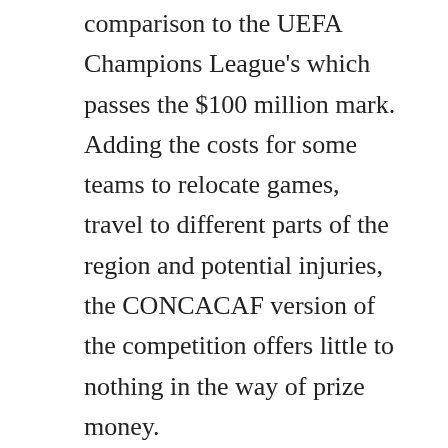comparison to the UEFA Champions League's which passes the $100 million mark. Adding the costs for some teams to relocate games, travel to different parts of the region and potential injuries, the CONCACAF version of the competition offers little to nothing in the way of prize money.
What the current Leagues Cup winners Cruz Azul received for their trophy lift isn't known but the exposure on ESPN was far greater than what we've seen for the continental games. The intensity which the final was played against Tigres was also noticeable, leading to the